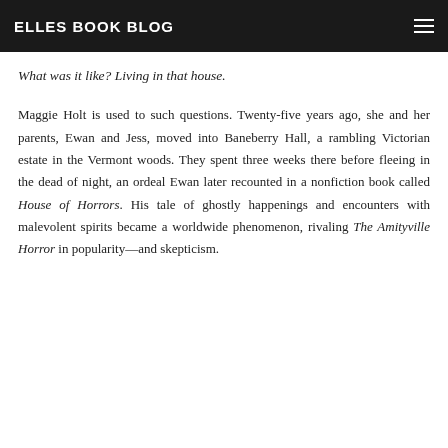ELLES BOOK BLOG
What was it like? Living in that house.
Maggie Holt is used to such questions. Twenty-five years ago, she and her parents, Ewan and Jess, moved into Baneberry Hall, a rambling Victorian estate in the Vermont woods. They spent three weeks there before fleeing in the dead of night, an ordeal Ewan later recounted in a nonfiction book called House of Horrors. His tale of ghostly happenings and encounters with malevolent spirits became a worldwide phenomenon, rivaling The Amityville Horror in popularity—and skepticism.